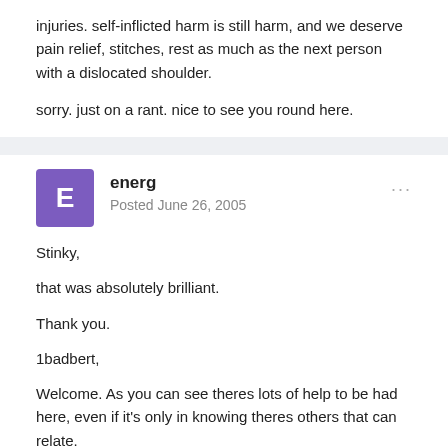injuries. self-inflicted harm is still harm, and we deserve pain relief, stitches, rest as much as the next person with a dislocated shoulder.
sorry. just on a rant. nice to see you round here.
energ
Posted June 26, 2005
Stinky,

that was absolutely brilliant.

Thank you.

1badbert,

Welcome. As you can see theres lots of help to be had here, even if it's only in knowing theres others that can relate.

energ